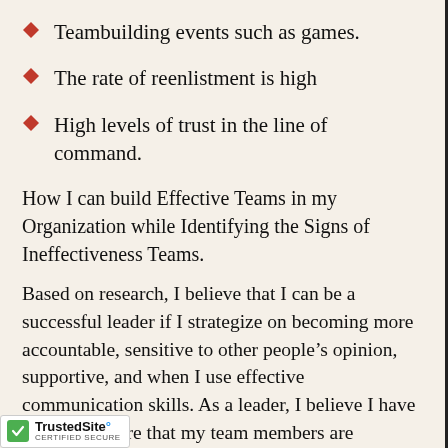Teambuilding events such as games.
The rate of reenlistment is high
High levels of trust in the line of command.
How I can build Effective Teams in my Organization while Identifying the Signs of Ineffectiveness Teams.
Based on research, I believe that I can be a successful leader if I strategize on becoming more accountable, sensitive to other people’s opinion, supportive, and when I use effective communication skills. As a leader, I believe I have a role to ensure that my team members are motivated and encouraged as we work t…chieving our set goals. For this …acknowledge and accept the fact that